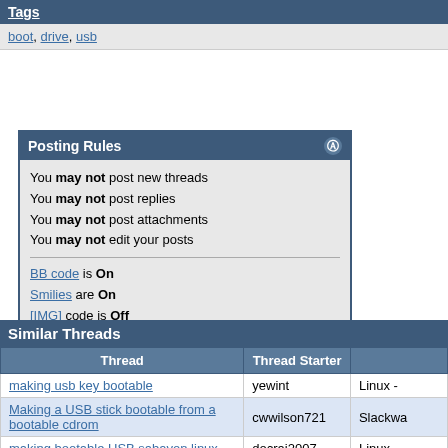Tags
boot, drive, usb
| Posting Rules |
| --- |
| You may not post new threads |
| You may not post replies |
| You may not post attachments |
| You may not edit your posts |
| BB code is On |
| Smilies are On |
| [IMG] code is Off |
| HTML code is Off |
| Forum Rules |
Similar Threads
| Thread | Thread Starter |  |
| --- | --- | --- |
| making usb key bootable | yewint | Linux - |
| Making a USB stick bootable from a bootable cdrom | cwwilson721 | Slackwa |
| making bootable USB sabayon linux | docraj2007 | Linux - |
| Making a bootable usb stick | nanderh | Linux - |
| Making a usb stick bootable | TotalLinuxNoob | Linux - |